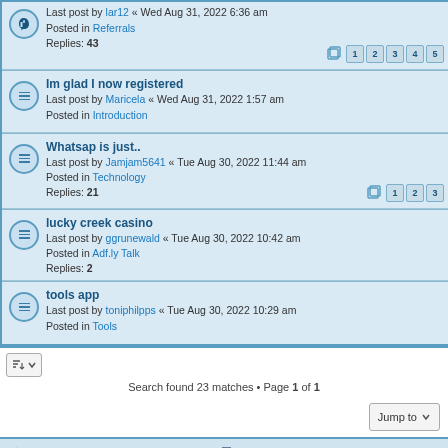Last post by lar12 « Wed Aug 31, 2022 6:36 am
Posted in Referrals
Replies: 43
Pages: 1 2 3 4 5
Im glad I now registered
Last post by Maricela « Wed Aug 31, 2022 1:57 am
Posted in Introduction
Whatsap is just..
Last post by Jamjam5641 « Tue Aug 30, 2022 11:44 am
Posted in Technology
Replies: 21
Pages: 1 2 3
lucky creek casino
Last post by ggrunewald « Tue Aug 30, 2022 10:42 am
Posted in Adf.ly Talk
Replies: 2
tools app
Last post by toniphilpps « Tue Aug 30, 2022 10:29 am
Posted in Tools
Search found 23 matches • Page 1 of 1
Jump to
Board index | Contact us | Delete cookies | All times are UTC
Powered by phpBB® Forum Software © phpBB Limited
Privacy | Terms